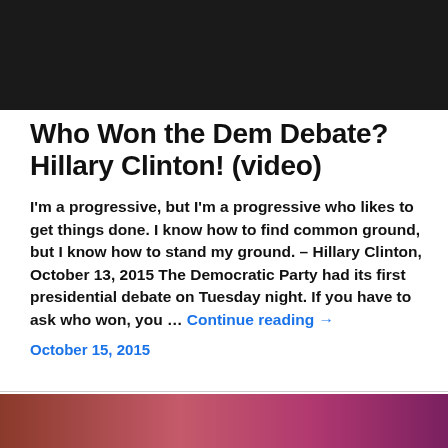[Figure (photo): Dark background image at the top of the page, appears to be a dimly lit scene]
Who Won the Dem Debate? Hillary Clinton! (video)
I'm a progressive, but I'm a progressive who likes to get things done. I know how to find common ground, but I know how to stand my ground. – Hillary Clinton, October 13, 2015 The Democratic Party had its first presidential debate on Tuesday night. If you have to ask who won, you … Continue reading →
October 15, 2015
[Figure (photo): Colorful crowd scene image at the bottom of the page, appears to show people at an event with pink and purple tones]